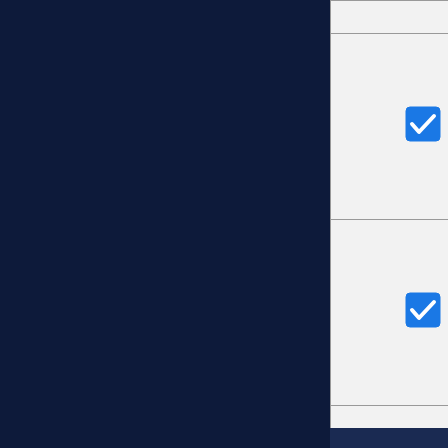| Checkbox | Date/Time |  |
| --- | --- | --- |
| ☑ | Sat Sep 25 2021 12 UTC
(2021092012 - 120) |  |
| ☑ | Sun Sep 26 2021 00 UTC
(2021092012 - 132) |  |
| ☑ | Sun Sep 26 2021 12 UTC
(2021092012 - 144) |  |
| ☑ | Mon Sep 27 2021 00 UTC
(2021092012 - 156) |  |
| ☑ | Mon Sep 27 2021 12 UTC
(2021092012 - 168) |  |
| ☑ | Tue Sep 28 2021 00 UTC
(2021092012 - 180) |  |